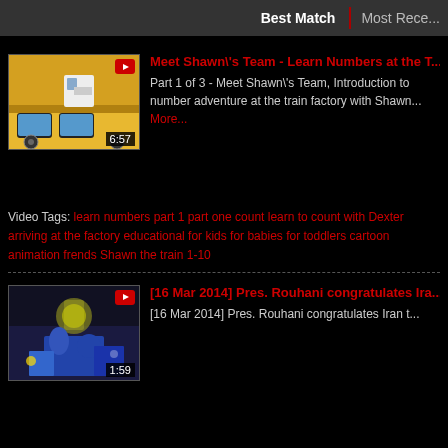Best Match | Most Rece...
[Figure (screenshot): Video thumbnail showing cartoon train scene (yellow train), duration 6:57]
Meet Shawn\'s Team - Learn Numbers at the T...
Part 1 of 3 - Meet Shawn\'s Team, Introduction to number adventure at the train factory with Shawn... More...
Video Tags: learn numbers part 1 part one count learn to count with Dexter arriving at the factory educational for kids for babies for toddlers cartoon animation frends Shawn the train 1-10
[Figure (screenshot): Video thumbnail showing sports celebration with trophy, duration 1:59]
[16 Mar 2014] Pres. Rouhani congratulates Ira...
[16 Mar 2014] Pres. Rouhani congratulates Iran t...